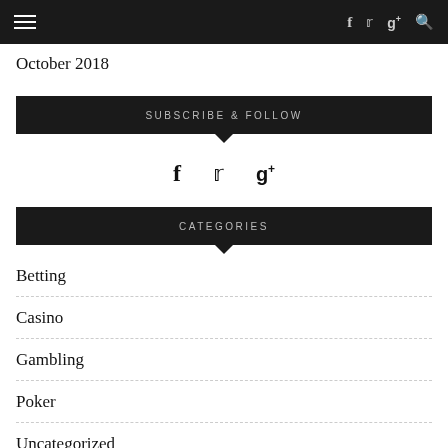≡  f  ✓  g+  🔍
October 2018
SUBSCRIBE & FOLLOW
[Figure (other): Social media icons: Facebook (f), Twitter (bird), Google+ (g+)]
CATEGORIES
Betting
Casino
Gambling
Poker
Uncategorized